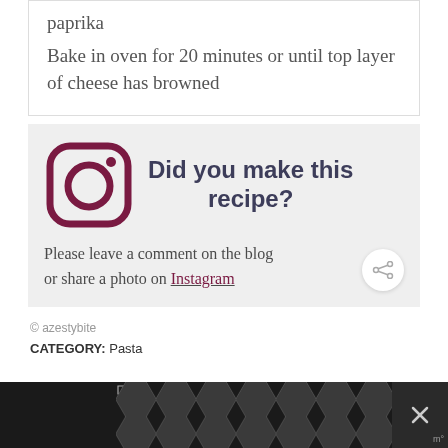paprika
Bake in oven for 20 minutes or until top layer of cheese has browned
[Figure (infographic): Instagram icon (camera outline in dark burgundy/maroon) with the text 'Did you make this recipe?' in bold dark blue-grey, followed by text 'Please leave a comment on the blog or share a photo on Instagram' with Instagram as a dark red underlined link, and a circular share button on the right.]
© azestybite
CATEGORY: Pasta
[Figure (other): Advertisement bar at the bottom with dark background, hexagonal pattern, close X button, and ad indicator icon.]